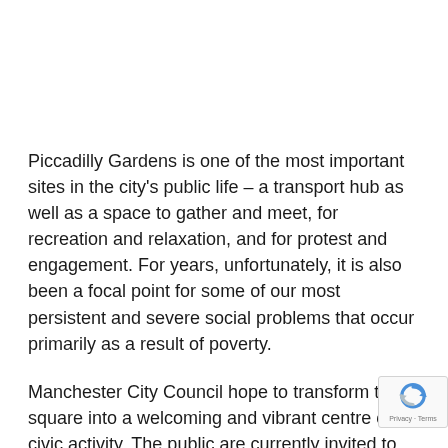Piccadilly Gardens is one of the most important sites in the city's public life – a transport hub as well as a space to gather and meet, for recreation and relaxation, and for protest and engagement. For years, unfortunately, it is also been a focal point for some of our most persistent and severe social problems that occur primarily as a result of poverty.
Manchester City Council hope to transform the square into a welcoming and vibrant centre of civic activity. The public are currently invited to contribute to an online consultation on the future of the area and it is important that as broad a range of residents as possible are involved in the survey and the redevelopment process.